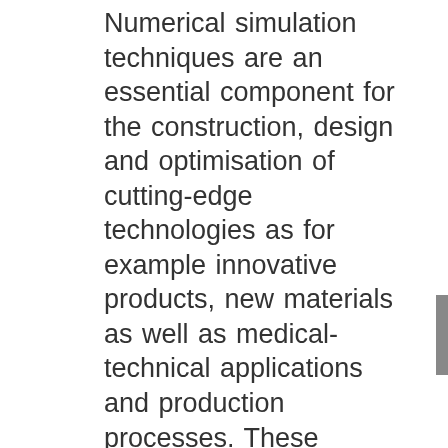Numerical simulation techniques are an essential component for the construction, design and optimisation of cutting-edge technologies as for example innovative products, new materials as well as medical-technical applications and production processes. These important developments pose great demands on quality, reliability and capability of numerical methods, which are used for the simulation of these complex problems. Challenges are for example treatment of incompressibility, anisotropy and discontinuities. Existing computer-based solution methods often provide approximations which cannot guarantee substantial and necessary stability criteria. Especially in the field of geometrical and material non-linearities such uncertainties appear. Typical problems are insufficient or even pathological stress approximations due to unsuitable